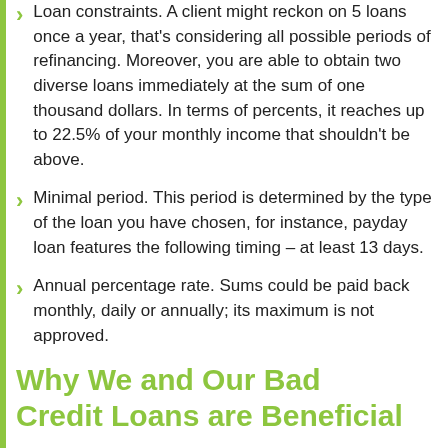Loan constraints. A client might reckon on 5 loans once a year, that's considering all possible periods of refinancing. Moreover, you are able to obtain two diverse loans immediately at the sum of one thousand dollars. In terms of percents, it reaches up to 22.5% of your monthly income that shouldn't be above.
Minimal period. This period is determined by the type of the loan you have chosen, for instance, payday loan features the following timing – at least 13 days.
Annual percentage rate. Sums could be paid back monthly, daily or annually; its maximum is not approved.
Why We and Our Bad Credit Loans are Beneficial